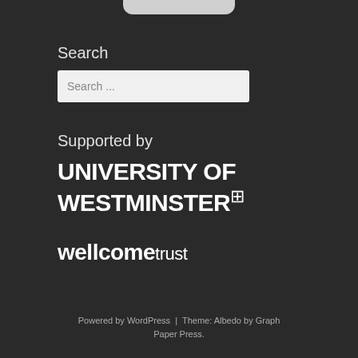Search
Search ...
Supported by
[Figure (logo): University of Westminster logo in white bold uppercase text with a grid symbol]
[Figure (logo): Wellcome Trust logo in white bold text, 'wellcome' in bold and 'trust' in light weight]
Powered by WordPress  |  Theme: Albedo by Graph Paper Press.